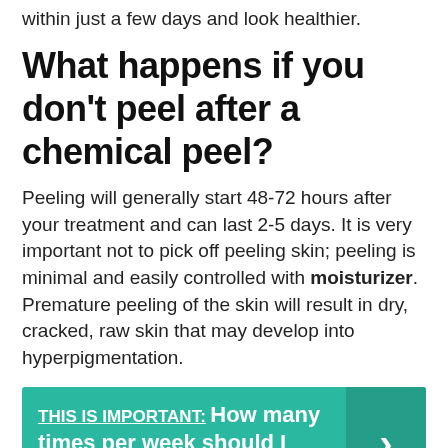within just a few days and look healthier.
What happens if you don't peel after a chemical peel?
Peeling will generally start 48-72 hours after your treatment and can last 2-5 days. It is very important not to pick off peeling skin; peeling is minimal and easily controlled with moisturizer. Premature peeling of the skin will result in dry, cracked, raw skin that may develop into hyperpigmentation.
THIS IS IMPORTANT: How many times per week should I exfoliate?
Are chemical peels worth it?